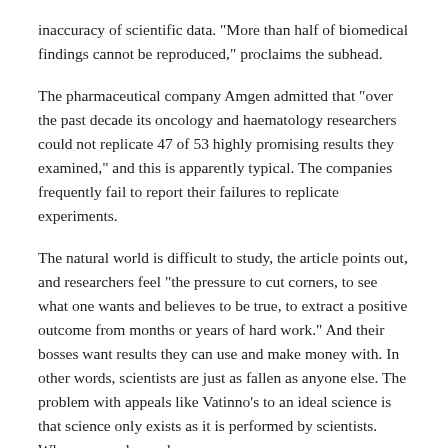inaccuracy of scientific data. "More than half of biomedical findings cannot be reproduced," proclaims the subhead.
The pharmaceutical company Amgen admitted that "over the past decade its oncology and haematology researchers could not replicate 47 of 53 highly promising results they examined," and this is apparently typical. The companies frequently fail to report their failures to replicate experiments.
The natural world is difficult to study, the article points out, and researchers feel "the pressure to cut corners, to see what one wants and believes to be true, to extract a positive outcome from months or years of hard work." And their bosses want results they can use and make money with. In other words, scientists are just as fallen as anyone else. The problem with appeals like Vatinno's to an ideal science is that science only exists as it is performed by scientists. Who are, you know, human.
Suffering
We can understand the appeal of transhumanism's promise to reduce suffering. But, as discomforting as the answer may be, suffering can